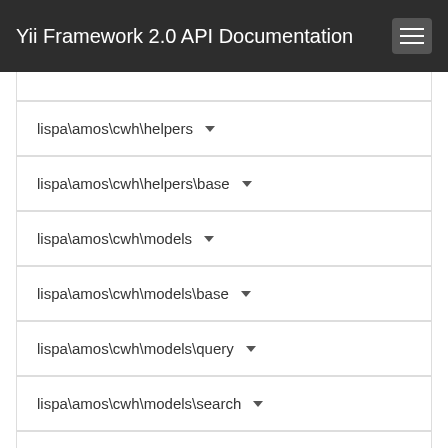Yii Framework 2.0 API Documentation
lispa\amos\cwh\helpers
lispa\amos\cwh\helpers\base
lispa\amos\cwh\models
lispa\amos\cwh\models\base
lispa\amos\cwh\models\query
lispa\amos\cwh\models\search
lispa\amos\cwh\query
lispa\amos\cwh\utility
lispa\amos\cwh\widgets